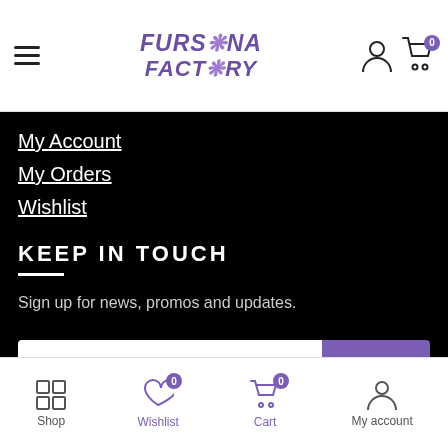FURSONA FACTORY
My Account
My Orders
Wishlist
KEEP IN TOUCH
Sign up for news, promos and updates.
Enter your email | Sign Up
Shop  Wishlist 0  Cart 0  My account